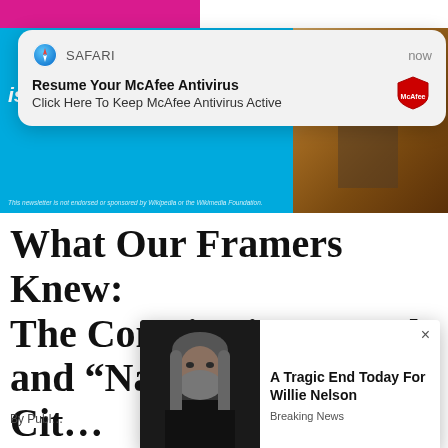[Figure (screenshot): Safari browser notification popup: 'Resume Your McAfee Antivirus - Click Here To Keep McAfee Antivirus Active' with McAfee shield logo and 'now' timestamp]
[Figure (screenshot): Blue banner advertisement with text 'is located?' and disclaimer text, with wood-textured image on right and 'Enjoy this link to free Wikipedia content' caption]
What Our Framers Knew: The Constitution, Vattel, and “Natural Born Citi…
By Publ…
[Figure (screenshot): Popup overlay showing photo of Willie Nelson with text 'A Tragic End Today For Willie Nelson' and tag 'Breaking News', with X close button]